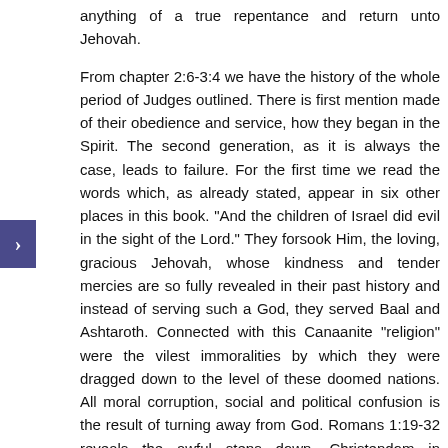anything of a true repentance and return unto Jehovah.
From chapter 2:6-3:4 we have the history of the whole period of Judges outlined. There is first mention made of their obedience and service, how they began in the Spirit. The second generation, as it is always the case, leads to failure. For the first time we read the words which, as already stated, appear in six other places in this book. "And the children of Israel did evil in the sight of the Lord." They forsook Him, the loving, gracious Jehovah, whose kindness and tender mercies are so fully revealed in their past history and instead of serving such a God, they served Baal and Ashtaroth. Connected with this Canaanite "religion" were the vilest immoralities by which they were dragged down to the level of these doomed nations. All moral corruption, social and political confusion is the result of turning away from God. Romans 1:19-32 reveals the awful steps down. Christendom in apostasy, turning away from God and from the light, leads to moral corruption as well. Turning away from the truth means being turned into fables.
The Lord then acted in behalf of His backslidden people